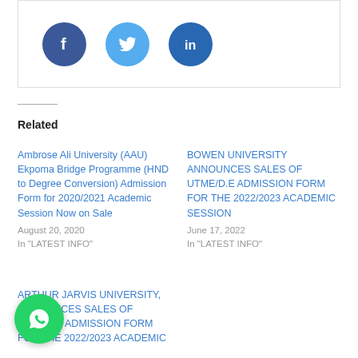[Figure (other): Social share box with Facebook, Twitter, and LinkedIn circular icon buttons]
Related
Ambrose Ali University (AAU) Ekpoma Bridge Programme (HND to Degree Conversion) Admission Form for 2020/2021 Academic Session Now on Sale
August 20, 2020
In "LATEST INFO"
BOWEN UNIVERSITY ANNOUNCES SALES OF UTME/D.E ADMISSION FORM FOR THE 2022/2023 ACADEMIC SESSION
June 17, 2022
In "LATEST INFO"
ARTHUR JARVIS UNIVERSITY, ANNOUNCES SALES OF UTME/DE ADMISSION FORM FOR THE 2022/2023 ACADEMIC